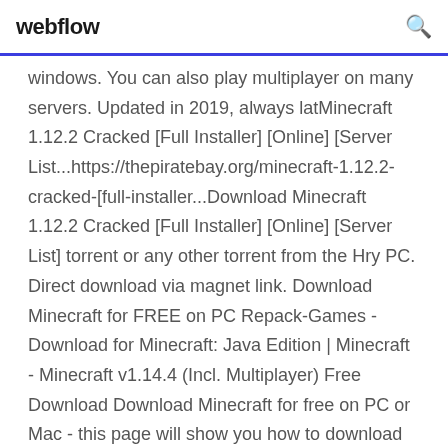webflow
windows. You can also play multiplayer on many servers. Updated in 2019, always latMinecraft 1.12.2 Cracked [Full Installer] [Online] [Server List...https://thepiratebay.org/minecraft-1.12.2-cracked-[full-installer...Download Minecraft 1.12.2 Cracked [Full Installer] [Online] [Server List] torrent or any other torrent from the Hry PC. Direct download via magnet link. Download Minecraft for FREE on PC Repack-Games - Download for Minecraft: Java Edition | Minecraft - Minecraft v1.14.4 (Incl. Multiplayer) Free Download Download Minecraft for free on PC or Mac - this page will show you how to download and install the full version of Minecraft for free